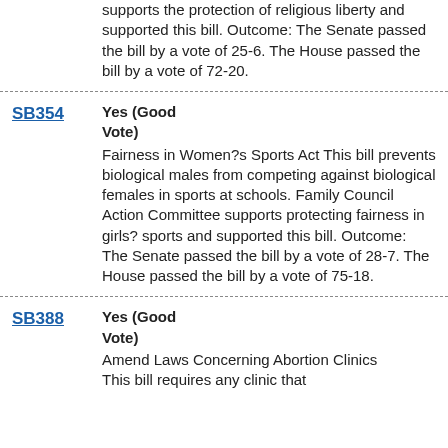supports the protection of religious liberty and supported this bill. Outcome: The Senate passed the bill by a vote of 25-6. The House passed the bill by a vote of 72-20.
SB354 | Yes (Good Vote) | Fairness in Women?s Sports Act This bill prevents biological males from competing against biological females in sports at schools. Family Council Action Committee supports protecting fairness in girls? sports and supported this bill. Outcome: The Senate passed the bill by a vote of 28-7. The House passed the bill by a vote of 75-18.
SB388 | Yes (Good Vote) | Amend Laws Concerning Abortion Clinics This bill requires any clinic that performs abortions to be licensed...